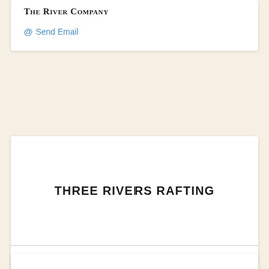The River Company
@ Send Email
THREE RIVERS RAFTING
THREE RIVERS RAFTING
@ Send Email